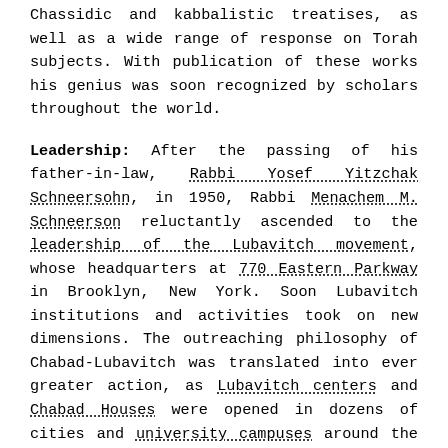Chassidic and kabbalistic treatises, as well as a wide range of response on Torah subjects. With publication of these works his genius was soon recognized by scholars throughout the world.
Leadership: After the passing of his father-in-law, Rabbi Yosef Yitzchak Schneersohn, in 1950, Rabbi Menachem M. Schneerson reluctantly ascended to the leadership of the Lubavitch movement, whose headquarters at 770 Eastern Parkway in Brooklyn, New York. Soon Lubavitch institutions and activities took on new dimensions. The outreaching philosophy of Chabad-Lubavitch was translated into ever greater action, as Lubavitch centers and Chabad Houses were opened in dozens of cities and university campuses around the world.
Passing: On Monday afternoon (March 2, 1992), while praying at the gravesite of his father-in-law and predecessor, the Rebbe suffered a stroke that paralyzed...